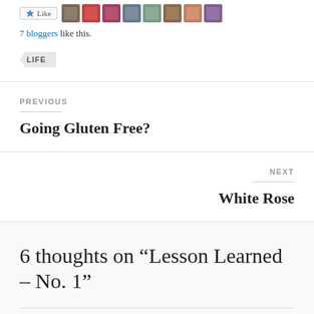[Figure (other): Like button with star icon followed by a row of 8 blogger avatar thumbnails]
7 bloggers like this.
LIFE
PREVIOUS
Going Gluten Free?
NEXT
White Rose
6 thoughts on “Lesson Learned – No. 1”